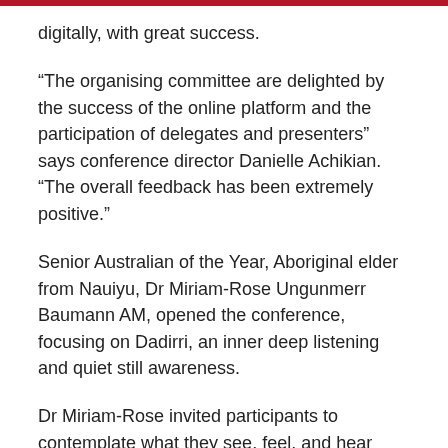digitally, with great success.
“The organising committee are delighted by the success of the online platform and the participation of delegates and presenters” says conference director Danielle Achikian. “The overall feedback has been extremely positive.”
Senior Australian of the Year, Aboriginal elder from Nauiyu, Dr Miriam-Rose Ungunmerr Baumann AM, opened the conference, focusing on Dadirri, an inner deep listening and quiet still awareness.
Dr Miriam-Rose invited participants to contemplate what they see, feel, and hear around them.
Cardinal Luis Antonio Gokim Tagle, Prefect of the